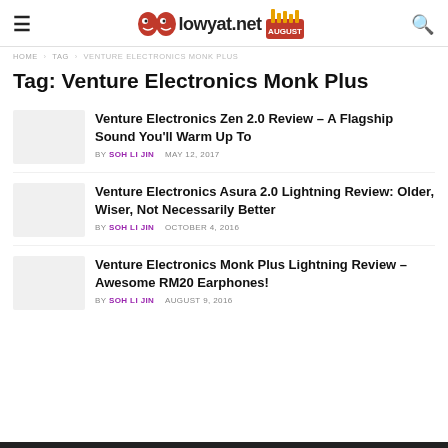lowyat.net AUGUST
HOME > TAG > VENTURE ELECTRONICS MONK PLUS
Tag: Venture Electronics Monk Plus
Venture Electronics Zen 2.0 Review – A Flagship Sound You'll Warm Up To — BY SOH LI JIN   MAY 12, 2017
Venture Electronics Asura 2.0 Lightning Review: Older, Wiser, Not Necessarily Better — BY SOH LI JIN   OCTOBER 4, 2016
Venture Electronics Monk Plus Lightning Review – Awesome RM20 Earphones! — BY SOH LI JIN   AUGUST 9, 2016